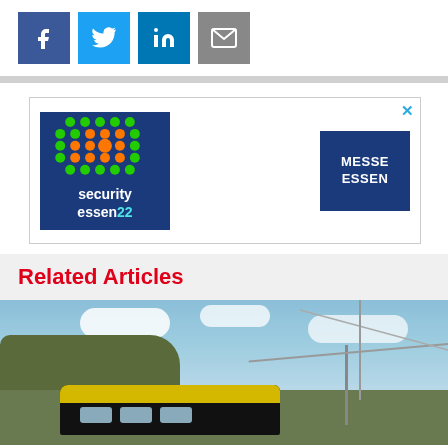[Figure (other): Social share buttons: Facebook (blue), Twitter (light blue), LinkedIn (blue), Email (grey)]
[Figure (other): Advertisement banner for Security Essen 22 trade show. Left side shows Security Essen 22 logo with green dot pattern and orange center on dark blue background. Right side shows Messe Essen logo on dark blue background. An X close button is in the top right corner.]
Related Articles
[Figure (photo): Photo of a train (yellow and black) on a railway track with overhead wires, passing through a countryside scene with trees, blue sky and clouds.]